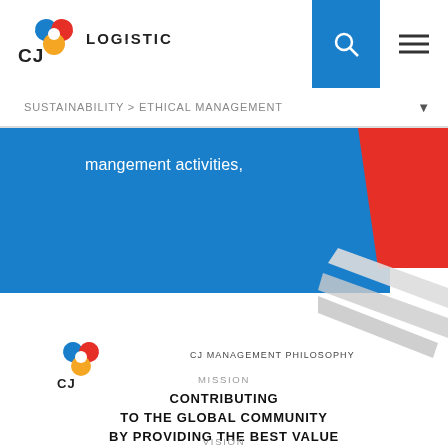CJ LOGISTICS
SUSTAINABILITY > ETHICAL MANAGEMENT
mangement activities,
[Figure (illustration): Blue banner with diagonal red and grey decorative stripes on the right side]
[Figure (logo): CJ logo small]
CJ MANAGEMENT PHILOSOPHY
MISSION
CONTRIBUTING TO THE GLOBAL COMMUNITY BY PROVIDING THE BEST VALUE WITH OUR ONLYONE PRODUCTS AND SERVICES
VISION